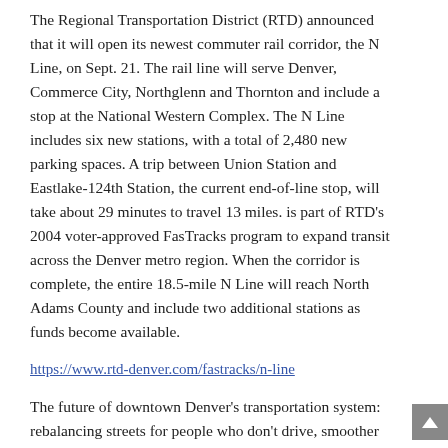The Regional Transportation District (RTD) announced that it will open its newest commuter rail corridor, the N Line, on Sept. 21. The rail line will serve Denver, Commerce City, Northglenn and Thornton and include a stop at the National Western Complex. The N Line includes six new stations, with a total of 2,480 new parking spaces. A trip between Union Station and Eastlake-124th Station, the current end-of-line stop, will take about 29 minutes to travel 13 miles. is part of RTD's 2004 voter-approved FasTracks program to expand transit across the Denver metro region. When the corridor is complete, the entire 18.5-mile N Line will reach North Adams County and include two additional stations as funds become available.
https://www.rtd-denver.com/fastracks/n-line
The future of downtown Denver's transportation system: rebalancing streets for people who don't drive, smoother deliveries and maybe a gondola?
https://denverite.com/2020/06/19/the-future-of-downtown-